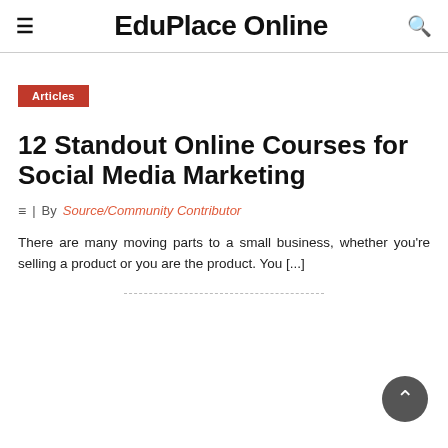EduPlace Online
Articles
12 Standout Online Courses for Social Media Marketing
| By Source/Community Contributor
There are many moving parts to a small business, whether you're selling a product or you are the product. You [...]